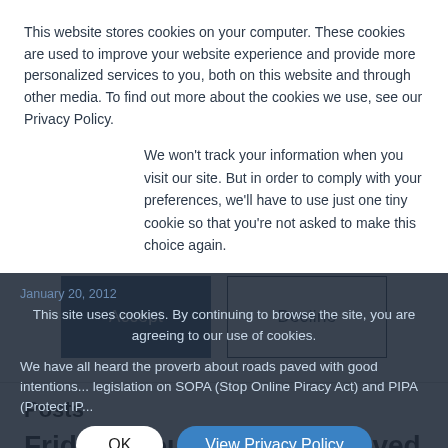This website stores cookies on your computer. These cookies are used to improve your website experience and provide more personalized services to you, both on this website and through other media. To find out more about the cookies we use, see our Privacy Policy.
We won't track your information when you visit our site. But in order to comply with your preferences, we'll have to use just one tiny cookie so that you're not asked to make this choice again.
Accept | Decline (buttons)
Posts
Friday Thought: Roads Paved with Good Intentions
January 20, 2012
This site uses cookies. By continuing to browse the site, you are agreeing to our use of cookies.
We have all heard the proverb about roads paved with good intentions... legislation on SOPA (Stop Online Piracy Act) and PIPA (Protect IP...